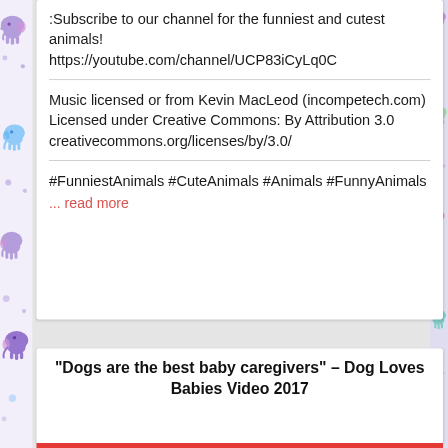:Subscribe to our channel for the funniest and cutest animals!
https://youtube.com/channel/UCP83iCyLq0C
Music licensed or from Kevin MacLeod (incompetech.com) Licensed under Creative Commons: By Attribution 3.0 creativecommons.org/licenses/by/3.0/
#FunniestAnimals #CuteAnimals #Animals #FunnyAnimals
... read more
"Dogs are the best baby caregivers" – Dog Loves Babies Video 2017